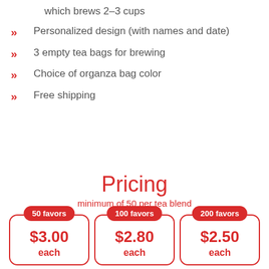which brews 2-3 cups
Personalized design (with names and date)
3 empty tea bags for brewing
Choice of organza bag color
Free shipping
Pricing
minimum of 50 per tea blend
| 50 favors | 100 favors | 200 favors |
| --- | --- | --- |
| $3.00 each | $2.80 each | $2.50 each |